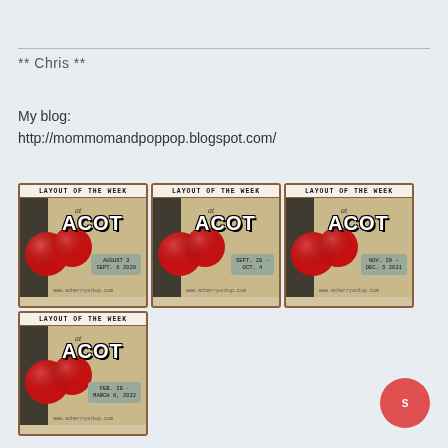** Chris **
My blog:
http://mommomandpoppop.blogspot.com/
[Figure (illustration): Four 'Layout of the Week at ACOT' badge images arranged in a 3+1 grid. Each badge shows cherries, 'LAYOUT OF THE WEEK' header, 'at ACOT' text, and dates: Aug 3–Sept 6 2020, Sept 28–Oct 4, Nov 29–Dec 5 2021, Feb 28–March 6 2022.]